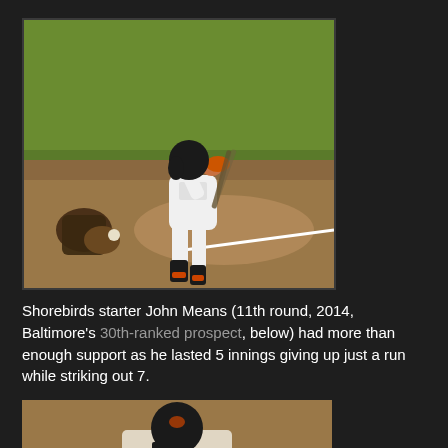[Figure (photo): A baseball batter in white and black uniform mid-swing at home plate, with a catcher crouched behind, taken at a baseball stadium with green grass in the background.]
Shorebirds starter John Means (11th round, 2014, Baltimore's 30th-ranked prospect, below) had more than enough support as he lasted 5 innings giving up just a run while striking out 7.
[Figure (photo): Partial view of a baseball player in uniform, bottom portion of the image, showing head with black batting helmet.]